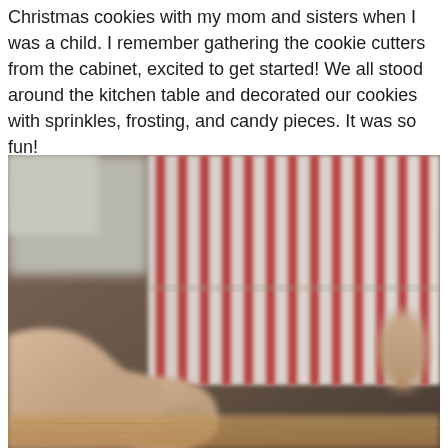Christmas cookies with my mom and sisters when I was a child. I remember gathering the cookie cutters from the cabinet, excited to get started! We all stood around the kitchen table and decorated our cookies with sprinkles, frosting, and candy pieces. It was so fun!
[Figure (photo): Close-up photo of a child wearing a red and white striped apron, with their hands visible near a wooden surface, suggesting a baking activity in a kitchen.]